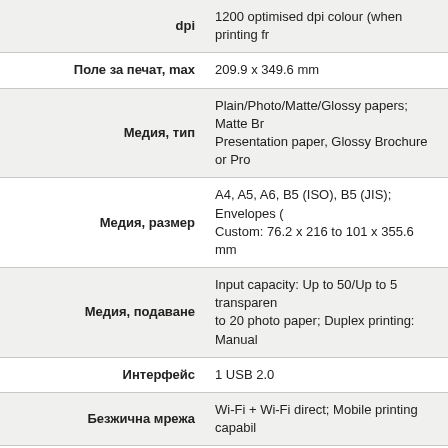| Property | Value |
| --- | --- |
| dpi | 1200 optimised dpi colour (when printing fr... |
| Поле за печат, max | 209.9 x 349.6 mm |
| Медия, тип | Plain/Photo/Matte/Glossy papers; Matte Br... Presentation paper, Glossy Brochure or Pro... |
| Медия, размер | A4, A5, A6, B5 (ISO), B5 (JIS); Envelopes (... Custom: 76.2 x 216 to 101 x 355.6 mm |
| Медия, подаване | Input capacity: Up to 50/Up to 5 transparen... to 20 photo paper; Duplex printing: Manual |
| Интерфейс | 1 USB 2.0 |
| Безжична мрежа | Wi-Fi + Wi-Fi direct; Mobile printing capabil... |
| Bluetooth | - |
| Съвместими операционни системи | Windows; Apple OS |
| Захранване, тип | Built-in power supply |
| Адаптер за кола | - |
| Батерия, тип | HP OfficeJet 200 series Battery |
| Брой копия за заредена батерия | n/a; Monthly duty cycle: Up to 500 pages A... 100 to 300 |
| Размери (Ш, Д, В), mm | Minimum: 364 x 186 x 69 mm; Maximum: 3... |